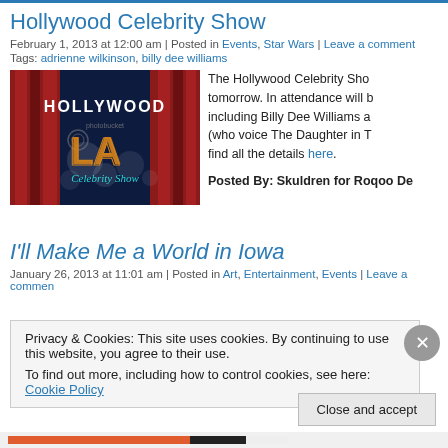Hollywood Celebrity Show
February 1, 2013 at 12:00 am | Posted in Events, Star Wars | Leave a comment
Tags: adrienne wilkinson, billy dee williams
[Figure (photo): Hollywood LA Celebrity Show logo with red curtains backdrop]
The Hollywood Celebrity Show tomorrow. In attendance will b including Billy Dee Williams a (who voice The Daughter in T find all the details here.
Posted By: Skuldren for Roqoo De
I'll Make Me a World in Iowa
January 26, 2013 at 11:01 am | Posted in Art, Entertainment, Events | Leave a commen
Privacy & Cookies: This site uses cookies. By continuing to use this website, you agree to their use.
To find out more, including how to control cookies, see here: Cookie Policy
Close and accept